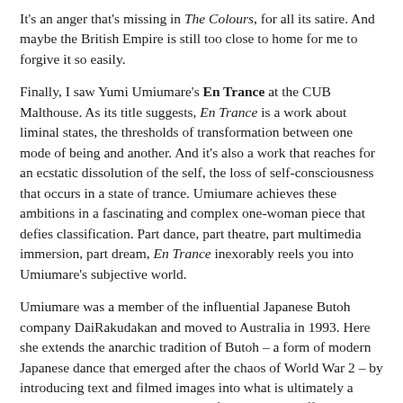It's an anger that's missing in The Colours, for all its satire. And maybe the British Empire is still too close to home for me to forgive it so easily.
Finally, I saw Yumi Umiumare's En Trance at the CUB Malthouse. As its title suggests, En Trance is a work about liminal states, the thresholds of transformation between one mode of being and another. And it's also a work that reaches for an ecstatic dissolution of the self, the loss of self-consciousness that occurs in a state of trance. Umiumare achieves these ambitions in a fascinating and complex one-woman piece that defies classification. Part dance, part theatre, part multimedia immersion, part dream, En Trance inexorably reels you into Umiumare's subjective world.
Umiumare was a member of the influential Japanese Butoh company DaiRakudakan and moved to Australia in 1993. Here she extends the anarchic tradition of Butoh – a form of modern Japanese dance that emerged after the chaos of World War 2 – by introducing text and filmed images into what is ultimately a deeply personal narrative about shifting between different cultures.